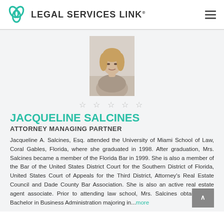LEGAL SERVICES LINK®
[Figure (photo): Professional headshot photo of Jacqueline Salcines, a woman with blonde hair, wearing a grey top, photographed against a light background.]
☆ ☆ ☆ ☆ ☆
JACQUELINE SALCINES
ATTORNEY MANAGING PARTNER
Jacqueline A. Salcines, Esq. attended the University of Miami School of Law, Coral Gables, Florida, where she graduated in 1998. After graduation, Mrs. Salcines became a member of the Florida Bar in 1999. She is also a member of the Bar of the United States District Court for the Southern District of Florida, United States Court of Appeals for the Third District, Attorney's Real Estate Council and Dade County Bar Association. She is also an active real estate agent associate. Prior to attending law school, Mrs. Salcines obtained her Bachelor in Business Administration majoring in...more